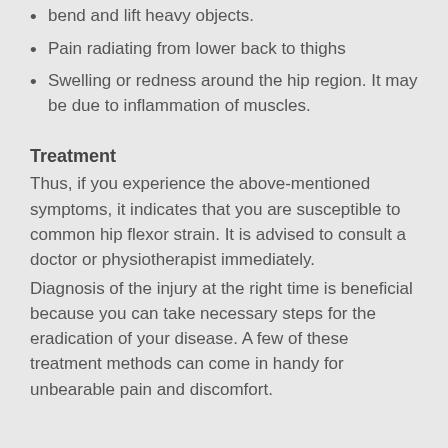bend and lift heavy objects.
Pain radiating from lower back to thighs
Swelling or redness around the hip region. It may be due to inflammation of muscles.
Treatment
Thus, if you experience the above-mentioned symptoms, it indicates that you are susceptible to common hip flexor strain. It is advised to consult a doctor or physiotherapist immediately.
Diagnosis of the injury at the right time is beneficial because you can take necessary steps for the eradication of your disease. A few of these treatment methods can come in handy for unbearable pain and discomfort.